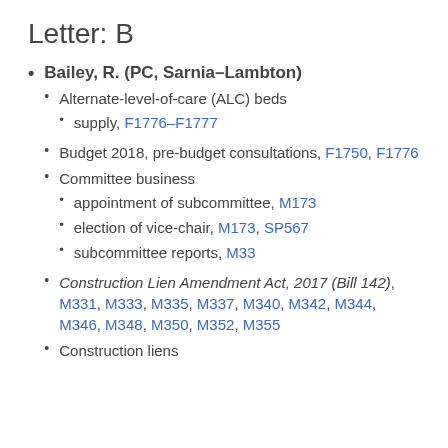Letter: B
Bailey, R. (PC, Sarnia–Lambton)
Alternate-level-of-care (ALC) beds
supply, F1776–F1777
Budget 2018, pre-budget consultations, F1750, F1776
Committee business
appointment of subcommittee, M173
election of vice-chair, M173, SP567
subcommittee reports, M33
Construction Lien Amendment Act, 2017 (Bill 142), M331, M333, M335, M337, M340, M342, M344, M346, M348, M350, M352, M355
Construction liens